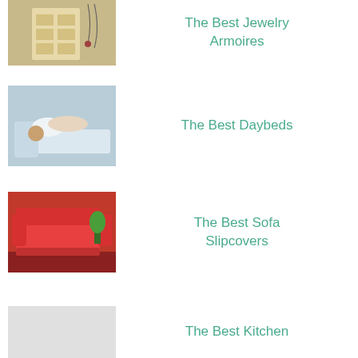[Figure (photo): Jewelry armoire with drawers and necklaces hanging, partially visible at top of page]
The Best Jewelry Armoires
[Figure (photo): Woman lying on a white daybed]
The Best Daybeds
[Figure (photo): Red sofa with slipcover on dark floor]
The Best Sofa Slipcovers
The Best Kitchen